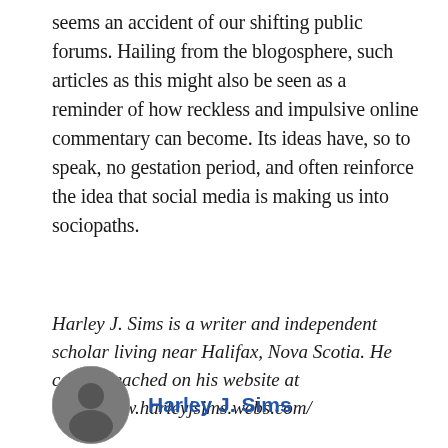seems an accident of our shifting public forums. Hailing from the blogosphere, such articles as this might also be seen as a reminder of how reckless and impulsive online commentary can become. Its ideas have, so to speak, no gestation period, and often reinforce the idea that social media is making us into sociopaths.
Harley J. Sims is a writer and independent scholar living near Halifax, Nova Scotia. He can be reached on his website at http://www.harleyjsims.webs.com/
[Figure (photo): Circular portrait photo of Harley J. Sims, a person shown in grayscale]
Harley J. Sims